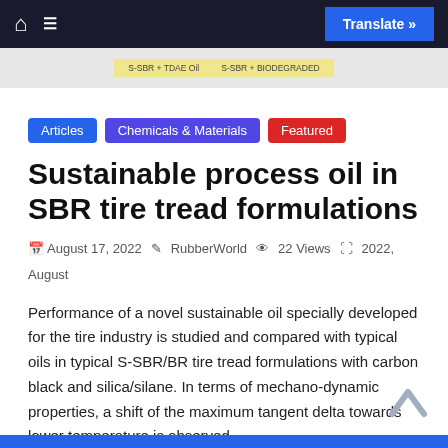Navigation bar with home icon, menu icon, and Translate » button
[Figure (screenshot): Partial image strip showing labels: S-SBR + TDAE Oil and S-SBR + BIODEGRADED on yellow background]
Articles
Chemicals & Materials
Featured
Sustainable process oil in SBR tire tread formulations
August 17, 2022  RubberWorld  22 Views  2022, August
Performance of a novel sustainable oil specially developed for the tire industry is studied and compared with typical oils in typical S-SBR/BR tire tread formulations with carbon black and silica/silane. In terms of mechano-dynamic properties, a shift of the maximum tangent delta towards lower temperature is observed.